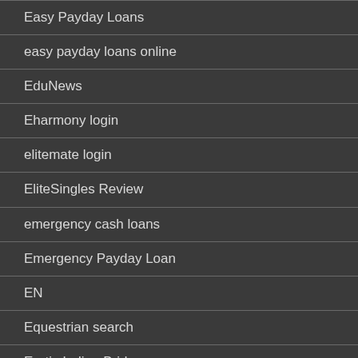Easy Payday Loans
easy payday loans online
EduNews
Eharmony login
elitemate login
EliteSingles Review
emergency cash loans
Emergency Payday Loan
EN
Equestrian search
Erotic Indian Brides